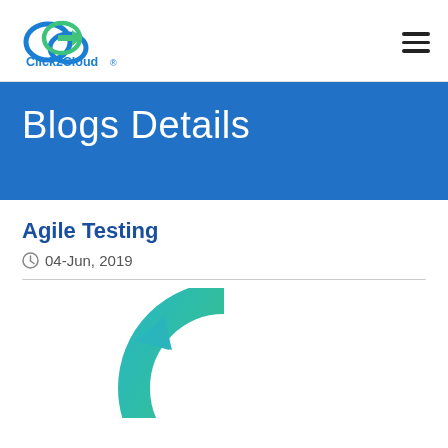Click2Cloud®
Blogs Details
Agile Testing
04-Jun, 2019
[Figure (illustration): Circular teal/cyan arrows forming a cycle diagram, partially cropped at bottom]